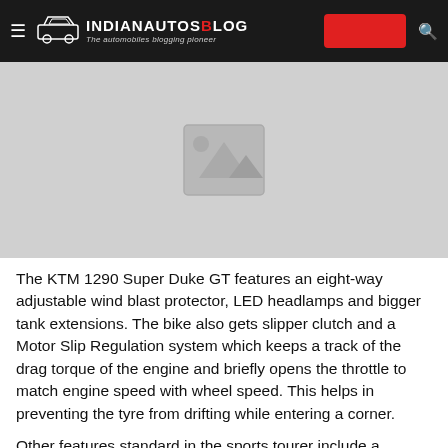IndianAutosBlog — The automobiles blogging pioneer
[Figure (photo): Placeholder image with mountain/landscape icon on grey background]
The KTM 1290 Super Duke GT features an eight-way adjustable wind blast protector, LED headlamps and bigger tank extensions. The bike also gets slipper clutch and a Motor Slip Regulation system which keeps a track of the drag torque of the engine and briefly opens the throttle to match engine speed with wheel speed. This helps in preventing the tyre from drifting while entering a corner.
Other features standard in the sports tourer include a traction control, three riding modes (sport, street and rain), electronic cruise control, Bosch stability control, switchable combined ABS and a quick shifter. Riders can also opt for Hill...